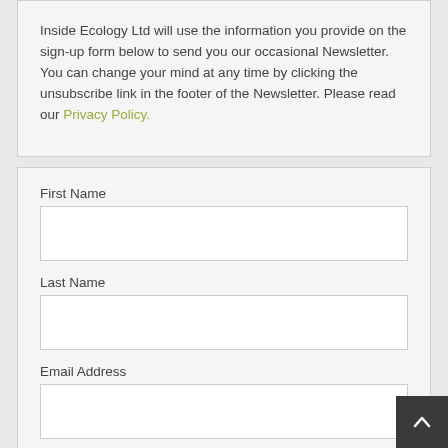Inside Ecology Ltd will use the information you provide on the sign-up form below to send you our occasional Newsletter. You can change your mind at any time by clicking the unsubscribe link in the footer of the Newsletter. Please read our Privacy Policy.
First Name
Last Name
Email Address